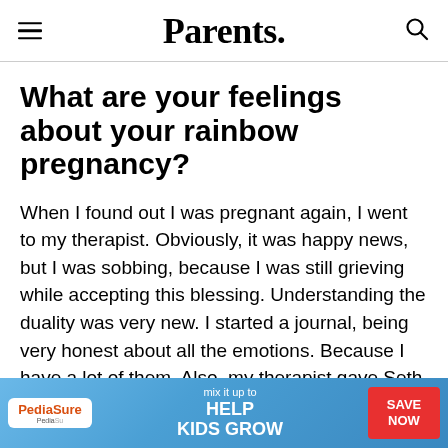Parents.
What are your feelings about your rainbow pregnancy?
When I found out I was pregnant again, I went to my therapist. Obviously, it was happy news, but I was sobbing, because I was still grieving while accepting this blessing. Understanding the duality was very new. I started a journal, being very honest about all the emotions. Because I have a lot of them. Also, my therapist gave Seth and me mourning rituals that allowed us to grieve
[Figure (other): PediaSure advertisement banner: 'mix it up to HELP KIDS GROW' with SAVE NOW button]